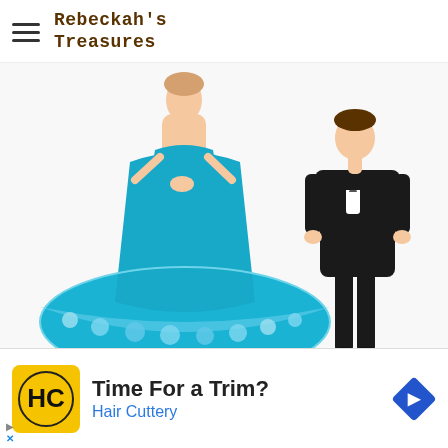Rebeckah's Treasures
[Figure (photo): Crochet dolls — a bride doll in a large turquoise/blue crocheted gown with floral lace trim, and a groom doll in a black tuxedo. The bride's dress is prominent and fills most of the frame.]
Lady is still to come...
Plus, 5 additional Free Loyalty Program Crochet Patterns.
[Figure (logo): Rebeckah's Loyal Follower Program badge — circular seal with stars and text 'Rebeckah's Loyal Follower Program']
Get Email Updates Today!
Time For a Trim?
Hair Cuttery